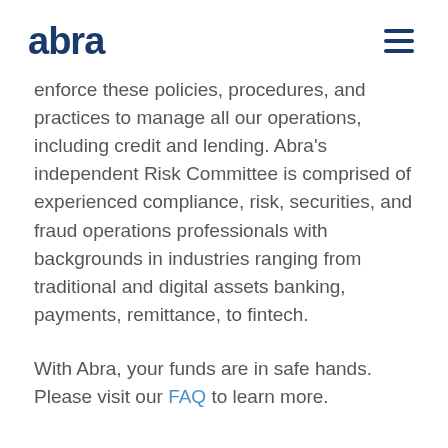abra
enforce these policies, procedures, and practices to manage all our operations, including credit and lending. Abra’s independent Risk Committee is comprised of experienced compliance, risk, securities, and fraud operations professionals with backgrounds in industries ranging from traditional and digital assets banking, payments, remittance, to fintech.
With Abra, your funds are in safe hands. Please visit our FAQ to learn more.